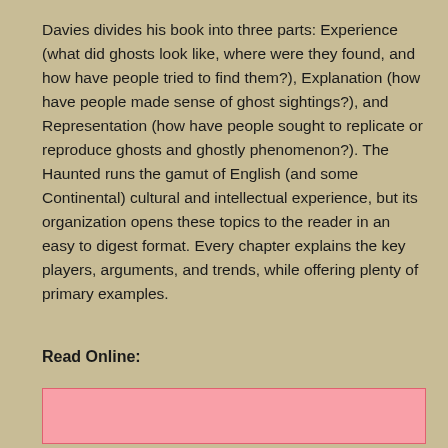Davies divides his book into three parts: Experience (what did ghosts look like, where were they found, and how have people tried to find them?), Explanation (how have people made sense of ghost sightings?), and Representation (how have people sought to replicate or reproduce ghosts and ghostly phenomenon?). The Haunted runs the gamut of English (and some Continental) cultural and intellectual experience, but its organization opens these topics to the reader in an easy to digest format. Every chapter explains the key players, arguments, and trends, while offering plenty of primary examples.
Read Online:
[Figure (other): Pink rectangular box, likely a placeholder for an embedded online reader or image]